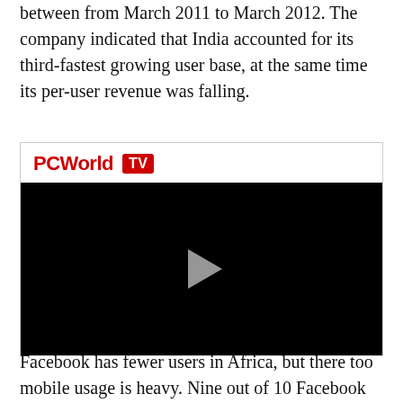between from March 2011 to March 2012. The company indicated that India accounted for its third-fastest growing user base, at the same time its per-user revenue was falling.
[Figure (screenshot): PCWorld TV video player with black screen and a play button in the center]
Facebook has fewer users in Africa, but there too mobile usage is heavy. Nine out of 10 Facebook